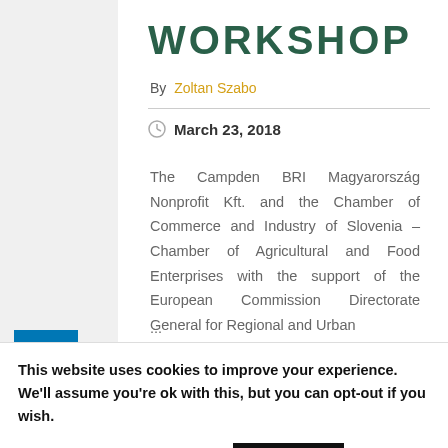WORKSHOP
By Zoltan Szabo
March 23, 2018
The Campden BRI Magyarország Nonprofit Kft. and the Chamber of Commerce and Industry of Slovenia – Chamber of Agricultural and Food Enterprises with the support of the European Commission Directorate General for Regional and Urban ...
This website uses cookies to improve your experience. We'll assume you're ok with this, but you can opt-out if you wish.
Cookie settings
ACCEPT